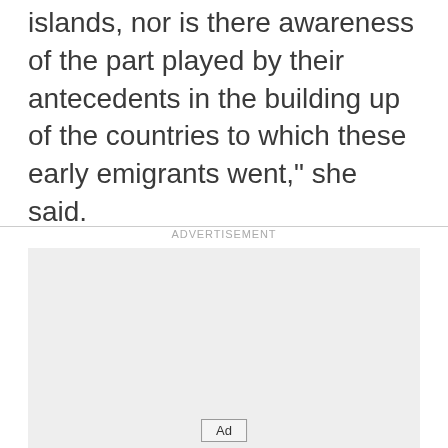islands, nor is there awareness of the part played by their antecedents in the building up of the countries to which these early emigrants went," she said.
[Figure (other): Advertisement placeholder box with 'ADVERTISEMENT' label above and 'Ad' button at the bottom]